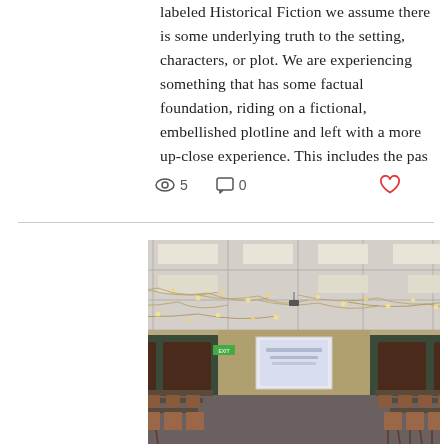labeled Historical Fiction we assume there is some underlying truth to the setting, characters, or plot. We are experiencing something that has some factual foundation, riding on a fictional, embellished plotline and left with a more up-close experience. This includes the pas
[Figure (photo): A lecture hall or classroom with rows of chairs and desks, a projection screen at the front showing a presentation, decorative string lights hanging from the ceiling, and wooden cabinetry along the back wall.]